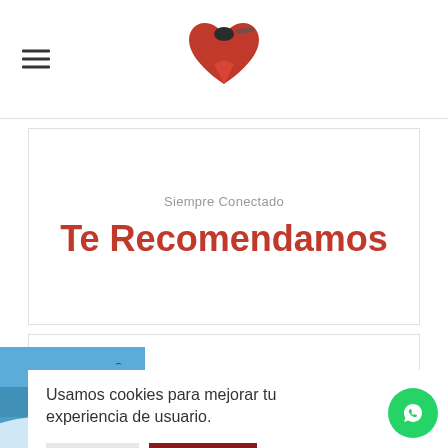[Figure (logo): Red heart-shaped logo with a plane silhouette, centered in header]
Siempre Conectado
Te Recomendamos
[Figure (illustration): Blue winter landscape illustration with trees and snow]
Usamos cookies para mejorar tu experiencia de usuario.
Ajustes
Aceptar